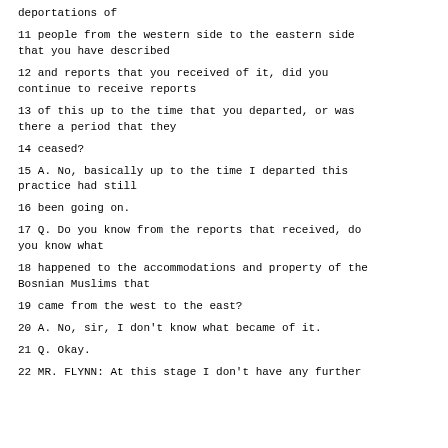deportations of
11 people from the western side to the eastern side that you have described
12 and reports that you received of it, did you continue to receive reports
13 of this up to the time that you departed, or was there a period that they
14 ceased?
15 A. No, basically up to the time I departed this practice had still
16 been going on.
17 Q. Do you know from the reports that received, do you know what
18 happened to the accommodations and property of the Bosnian Muslims that
19 came from the west to the east?
20 A. No, sir, I don't know what became of it.
21 Q. Okay.
22 MR. FLYNN: At this stage I don't have any further